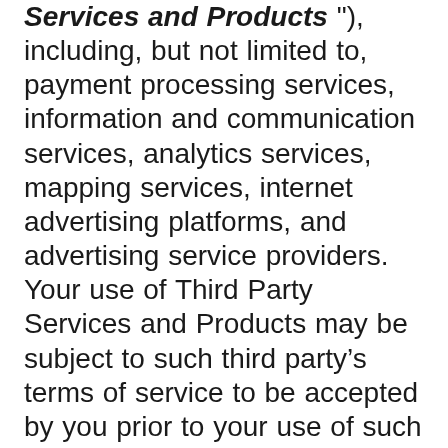Services and Products" ), including, but not limited to, payment processing services, information and communication services, analytics services, mapping services, internet advertising platforms, and advertising service providers. Your use of Third Party Services and Products may be subject to such third party’s terms of service to be accepted by you prior to your use of such Third Party Services and Products, including but not limited to the YouTube Terms of Service, available at https://www.youtube.com/t/terms , Google Maps/Google Earth